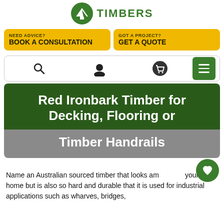[Figure (logo): Green circular logo with tree/arrow icon and TIMBERS text in green]
NEED ADVICE? BOOK A CONSULTATION
GOT A PROJECT? GET A QUOTE
[Figure (screenshot): Navigation bar with search, user, cart, and hamburger menu icons]
Red Ironbark Timber for Decking, Flooring or Timber Handrails
Name an Australian sourced timber that looks am... your home but is also so hard and durable that it is used for industrial applications such as wharves, bridges,